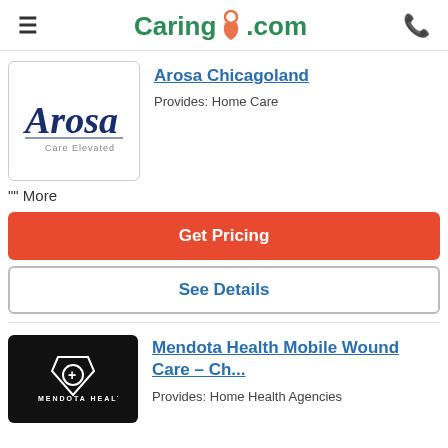Caring.com
[Figure (logo): Arosa Care Elevated logo - cursive blue text]
Arosa Chicagoland
Provides: Home Care
"" More
Get Pricing
See Details
[Figure (logo): Mendota Health logo - white shield with plus on black background]
Mendota Health Mobile Wound Care – Ch...
Provides: Home Health Agencies